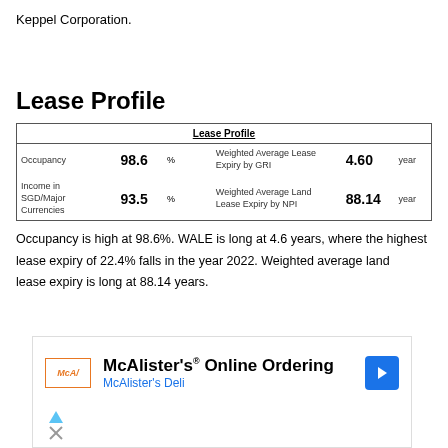Keppel Corporation.
Lease Profile
|  |  |  |  |  |  |  |
| --- | --- | --- | --- | --- | --- | --- |
| Lease Profile |  |  |  |  |  |  |
| Occupancy | 98.6 | % | Weighted Average Lease Expiry by GRI | 4.60 | year |  |
| Income in SGD/Major Currencies | 93.5 | % | Weighted Average Land Lease Expiry by NPI | 88.14 | year |  |
Occupancy is high at 98.6%. WALE is long at 4.6 years, where the highest lease expiry of 22.4% falls in the year 2022. Weighted average land lease expiry is long at 88.14 years.
[Figure (other): McAlister's Online Ordering advertisement banner with McAlister's Deli branding, logo, and navigation arrow icon.]